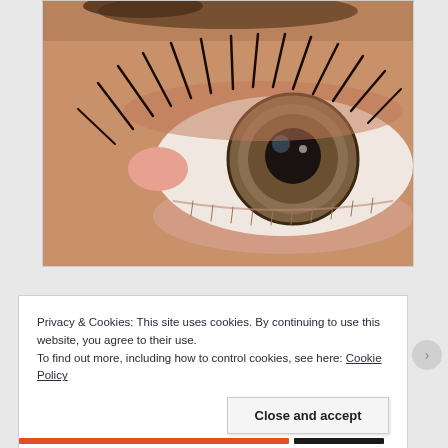[Figure (photo): Close-up photograph of a human eye with hazel/green iris, dark pupil, mascara-coated eyelashes on upper lid, and visible pink lower eyelid margin and tear duct area.]
Privacy & Cookies: This site uses cookies. By continuing to use this website, you agree to their use.
To find out more, including how to control cookies, see here: Cookie Policy
Close and accept